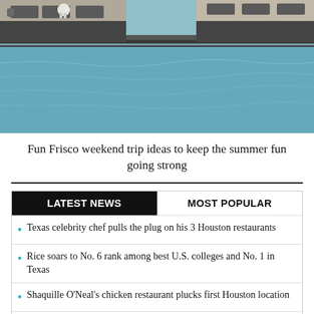[Figure (photo): Aerial or elevated view of a luxury pool with lounge furniture, dark stone edging, and blue water]
Fun Frisco weekend trip ideas to keep the summer fun going strong
LATEST NEWS   MOST POPULAR
Texas celebrity chef pulls the plug on his 3 Houston restaurants
Rice soars to No. 6 rank among best U.S. colleges and No. 1 in Texas
Shaquille O'Neal's chicken restaurant plucks first Houston location
Hoffman hams it up with the best